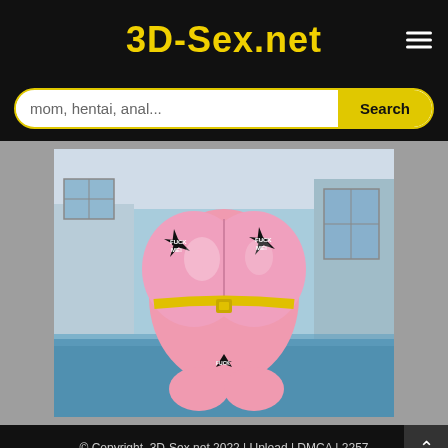3D-Sex.net
mom, hentai, anal...
[Figure (illustration): 3D animated adult illustration showing a pink cartoon character near a pool, wearing star-shaped pasties with text, and a yellow belt/strap around waist]
© Copyright. 3D-Sex.net 2022 | Upload | DMCA | 2257